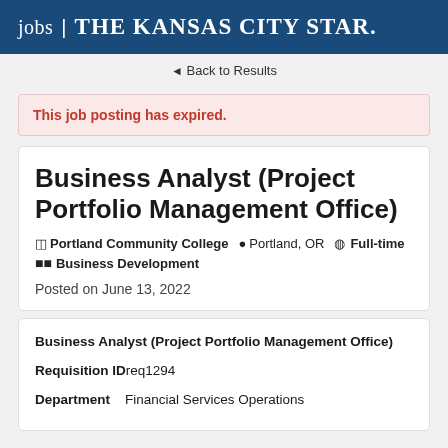jobs | THE KANSAS CITY STAR.
◄ Back to Results
This job posting has expired.
Business Analyst (Project Portfolio Management Office)
Portland Community College  Portland, OR  Full-time  Business Development
Posted on June 13, 2022
Business Analyst (Project Portfolio Management Office)
Requisition ID req1294
Department   Financial Services Operations